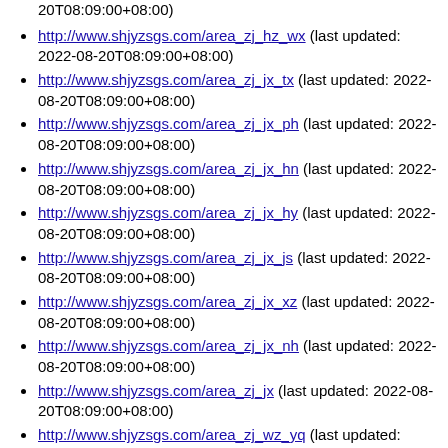http://www.shjyzsgs.com/area_zj_hz_wx (last updated: 2022-08-20T08:09:00+08:00)
http://www.shjyzsgs.com/area_zj_jx_tx (last updated: 2022-08-20T08:09:00+08:00)
http://www.shjyzsgs.com/area_zj_jx_ph (last updated: 2022-08-20T08:09:00+08:00)
http://www.shjyzsgs.com/area_zj_jx_hn (last updated: 2022-08-20T08:09:00+08:00)
http://www.shjyzsgs.com/area_zj_jx_hy (last updated: 2022-08-20T08:09:00+08:00)
http://www.shjyzsgs.com/area_zj_jx_js (last updated: 2022-08-20T08:09:00+08:00)
http://www.shjyzsgs.com/area_zj_jx_xz (last updated: 2022-08-20T08:09:00+08:00)
http://www.shjyzsgs.com/area_zj_jx_nh (last updated: 2022-08-20T08:09:00+08:00)
http://www.shjyzsgs.com/area_zj_jx (last updated: 2022-08-20T08:09:00+08:00)
http://www.shjyzsgs.com/area_zj_wz_yq (last updated: 2022-08-20T08:09:00+08:00)
http://www.shjyzsgs.com/area_zj_wz_ra (last updated: 2022-08-20T08:09:00+08:00)
http://www.shjyzsgs.com/area_zj_wz_ts (last updated: 2022-08-20T08:09:00+08:00)
http://www.shjyzsgs.com/area_zj_... (last updated: 2022-...)